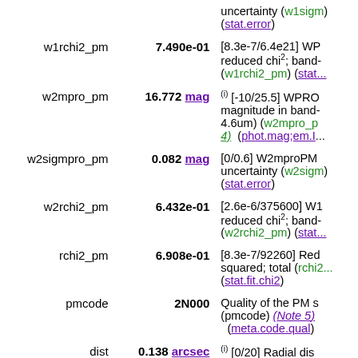| Name | Value | Description |
| --- | --- | --- |
|  |  | uncertainty (w1sigm) (stat.error) |
| w1rchi2_pm | 7.490e-01 | [8.3e-7/6.4e21] WP reduced chi2; band- (w1rchi2_pm) (stat... |
| w2mpro_pm | 16.772 mag | (i) [-10/25.5] WPRO magnitude in band- 4.6um) (w2mpro_p 4) (phot.mag;em.I... |
| w2sigmpro_pm | 0.082 mag | [0/0.6] W2mproPM uncertainty (w2sigm (stat.error) |
| w2rchi2_pm | 6.432e-01 | [2.6e-6/375600] W1 reduced chi2; band- (w2rchi2_pm) (stat... |
| rchi2_pm | 6.908e-01 | [8.3e-7/92260] Red squared; total (rchi2 (stat.fit.chi2) |
| pmcode | 2N000 | Quality of the PM s (pmcode) (Note 5) (meta.code.qual) |
| dist | 0.138 arcsec | (i) [0/20] Radial dis between apparitions |